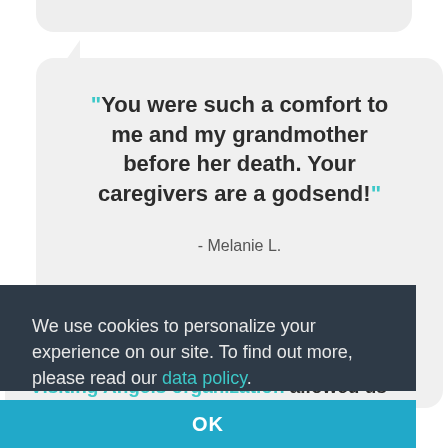"You were such a comfort to me and my grandmother before her death. Your caregivers are a godsend!"
- Melanie L.
We use cookies to personalize your experience on our site. To find out more, please read our data policy.
OK
...the loving care provided by your Visiting Angels organization allowed us to keep mom home with us till the end."